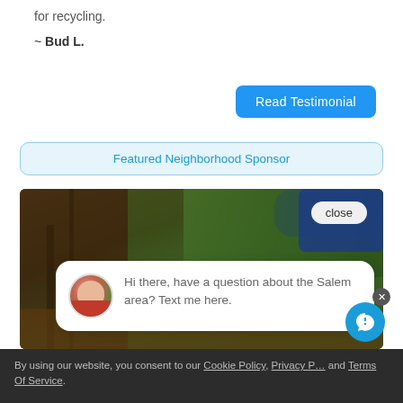for recycling.
~ Bud L.
Read Testimonial
Featured Neighborhood Sponsor
[Figure (photo): Outdoor photo showing tree bark and foliage background with a chat overlay popup. The popup has an avatar of a man and text: 'Hi there, have a question about the Salem area? Text me here.' with a close button.]
Hi there, have a question about the Salem area? Text me here.
By using our website, you consent to our Cookie Policy, Privacy Policy and Terms Of Service.